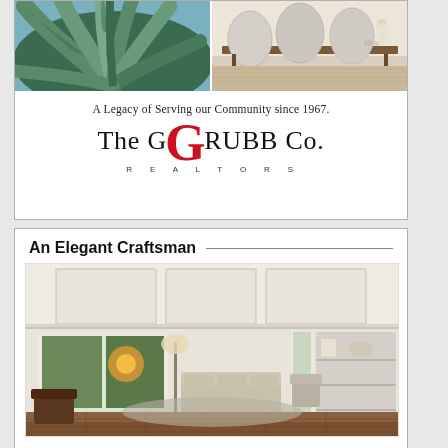[Figure (photo): Top advertisement box for The GRUBB Co. Realtors with two photos (agave plant on left, dining room setup on right), tagline 'A Legacy of Serving our Community since 1967.' and company logo]
A Legacy of Serving our Community since 1967.
The GRUBB Co. REALTORS
[Figure (photo): Bottom advertisement box showing 'An Elegant Craftsman' heading with interior photo of a bright craftsman-style living room with coffered ceiling, large windows, and hardwood floors]
An Elegant Craftsman